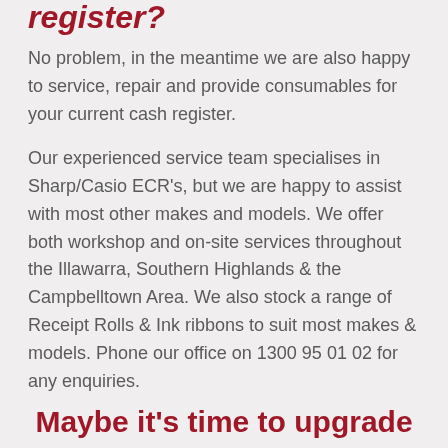register?
No problem, in the meantime we are also happy to service, repair and provide consumables for your current cash register.
Our experienced service team specialises in Sharp/Casio ECR’s, but we are happy to assist with most other makes and models. We offer both workshop and on-site services throughout the Illawarra, Southern Highlands & the Campbelltown Area. We also stock a range of Receipt Rolls & Ink ribbons to suit most makes & models. Phone our office on 1300 95 01 02 for any enquiries.
Maybe it’s time to upgrade